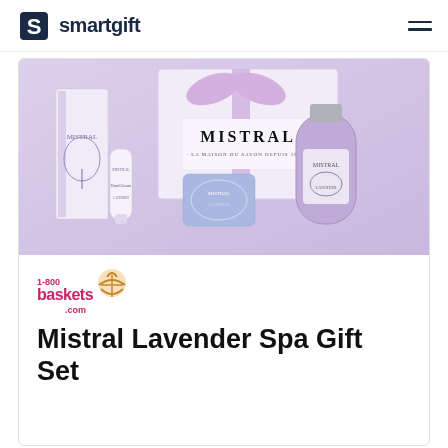smartgift
[Figure (photo): Mistral Lavender Spa Gift Set product photo showing hand cream tube, lavender soap bar, bath wash bottle, and MISTRAL branded gift box with purple ribbon, all in lavender/purple color scheme]
[Figure (logo): 1-800-baskets.com logo with pink and dark text and basket icon]
Mistral Lavender Spa Gift Set
$59.99